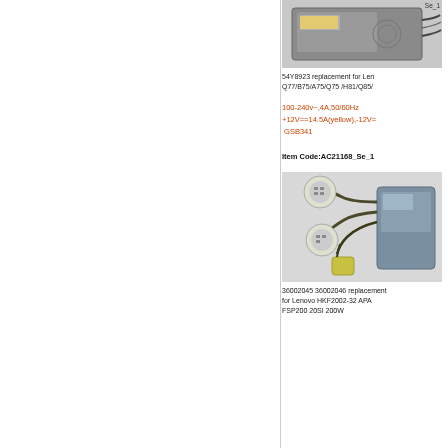[Figure (photo): Power supply unit photo - 54Y8923 replacement for Lenovo]
Se_1
54Y8923 replacement for Lenovo Q77/B75/A75/Q75 /H81/Q85/
100-240v~,4A,50/60Hz
+12V==14.5A(yellow),-12V=
GSB341
Item Code:AC21168_Se_1
[Figure (photo): Power supply with cables - 36002045 36002046 replacement for Lenovo HKF2002-32 APA FSP200 20SI 200W]
36002045 36002046 replacement for Lenovo HKF2002-32 APA FSP200 20SI 200W